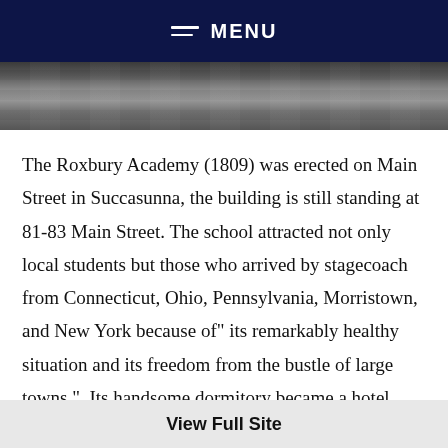MENU
[Figure (photo): Black and white photograph strip, appears to show a landscape or building exterior, cropped to a narrow horizontal band.]
The Roxbury Academy (1809) was erected on Main Street in Succasunna, the building is still standing at 81-83 Main Street. The school attracted not only local students but those who arrived by stagecoach from Connecticut, Ohio, Pennsylvania, Morristown, and New York because of" its remarkably healthy situation and its freedom from the bustle of large towns."  Its handsome dormitory became a hotel when the school was
View Full Site